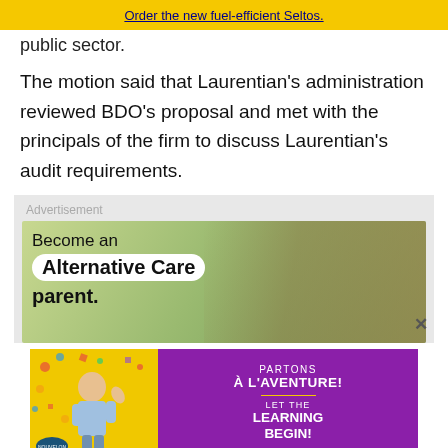Order the new fuel-efficient Seltos.
public sector.
The motion said that Laurentian’s administration reviewed BDO’s proposal and met with the principals of the firm to discuss Laurentian’s audit requirements.
[Figure (photo): Advertisement: 'Become an Alternative Care parent.' showing a smiling woman and child outdoors.]
[Figure (photo): Advertisement for Nouvelon: 'PARTONS À L’AVENTURE! LET THE LEARNING BEGIN!' with a child waving, on yellow and purple background.]